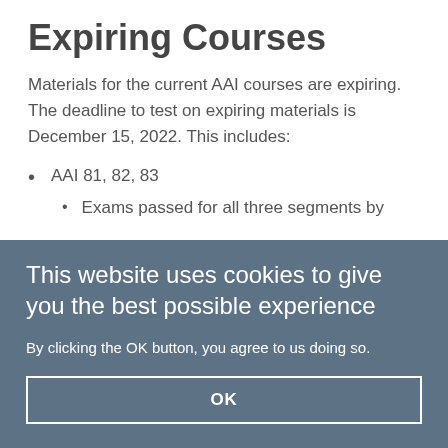Expiring Courses
Materials for the current AAI courses are expiring. The deadline to test on expiring materials is December 15, 2022. This includes:
AAI 81, 82, 83
Exams passed for all three segments by
This website uses cookies to give you the best possible experience
By clicking the OK button, you agree to us doing so.
OK